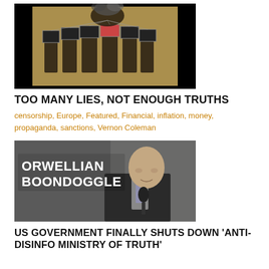[Figure (photo): Dark image showing several figures in suits with TV screens as heads, a fist above them on a sepia/yellow background]
TOO MANY LIES, NOT ENOUGH TRUTHS
censorship, Europe, Featured, Financial, inflation, money, propaganda, sanctions, Vernon Coleman
[Figure (photo): Photo of an elderly bald man in a dark pinstripe suit speaking into a microphone, with white bold text overlay reading 'ORWELLIAN BOONDOGGLE']
US GOVERNMENT FINALLY SHUTS DOWN 'ANTI-DISINFO MINISTRY OF TRUTH'